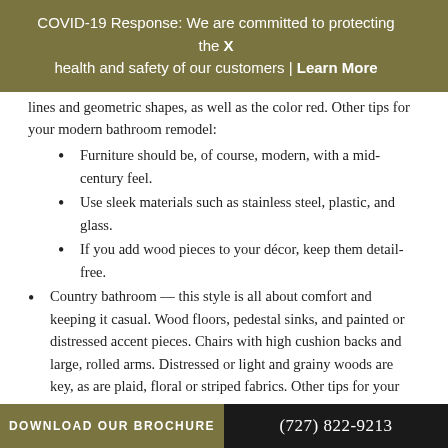COVID-19 Response: We are committed to protecting the health and safety of our customers | Learn More
lines and geometric shapes, as well as the color red. Other tips for your modern bathroom remodel:
Furniture should be, of course, modern, with a mid-century feel.
Use sleek materials such as stainless steel, plastic, and glass.
If you add wood pieces to your décor, keep them detail-free.
Country bathroom — this style is all about comfort and keeping it casual. Wood floors, pedestal sinks, and painted or distressed accent pieces. Chairs with high cushion backs and large, rolled arms. Distressed or light and grainy woods are key, as are plaid, floral or striped fabrics. Other tips for your country bathroom remodel:
DOWNLOAD OUR BROCHURE | (727) 822-9213